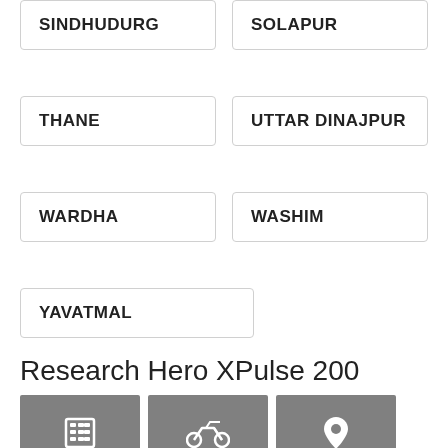SINDHUDURG
SOLAPUR
THANE
UTTAR DINAJPUR
WARDHA
WASHIM
YAVATMAL
Research Hero XPulse 200
Calculate EMI | View Specs | Dealers